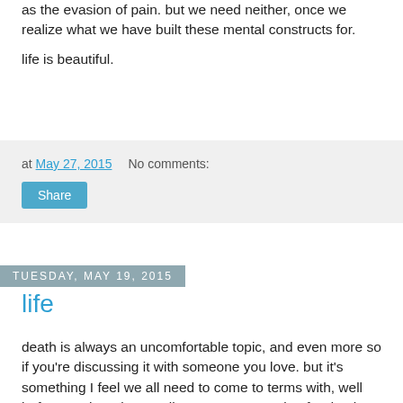as the evasion of pain. but we need neither, once we realize what we have built these mental constructs for.
life is beautiful.
at May 27, 2015    No comments:
Share
Tuesday, May 19, 2015
life
death is always an uncomfortable topic, and even more so if you're discussing it with someone you love. but it's something I feel we all need to come to terms with, well before our hour is actually upon us. preparing for death when it doesn't seem imminent should be no less unpleasant than writing a will, or buying life insurance. and it is definitely far more important than those things, as material things like possessions and money can be done without; on the other hand, losing your loved one's life's purpose in your sorrow on